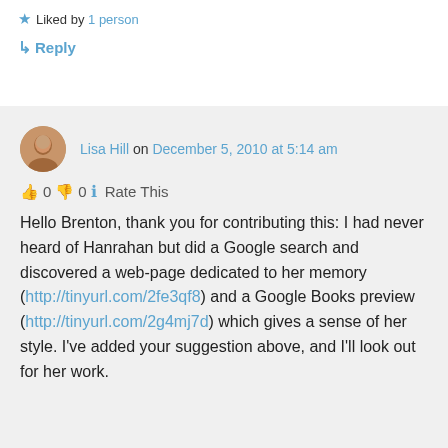★ Liked by 1 person
↳ Reply
Lisa Hill on December 5, 2010 at 5:14 am
👍 0 👎 0 ℹ Rate This
Hello Brenton, thank you for contributing this: I had never heard of Hanrahan but did a Google search and discovered a web-page dedicated to her memory (http://tinyurl.com/2fe3qf8) and a Google Books preview (http://tinyurl.com/2g4mj7d) which gives a sense of her style. I've added your suggestion above, and I'll look out for her work.